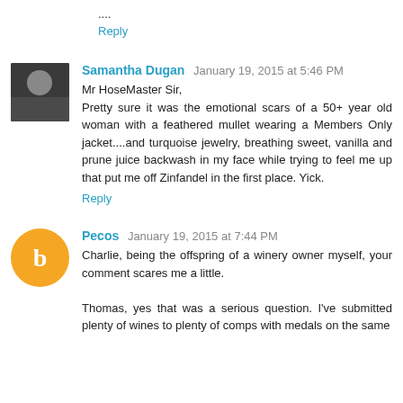....
Reply
Samantha Dugan  January 19, 2015 at 5:46 PM
Mr HoseMaster Sir,
Pretty sure it was the emotional scars of a 50+ year old woman with a feathered mullet wearing a Members Only jacket....and turquoise jewelry, breathing sweet, vanilla and prune juice backwash in my face while trying to feel me up that put me off Zinfandel in the first place. Yick.
Reply
Pecos  January 19, 2015 at 7:44 PM
Charlie, being the offspring of a winery owner myself, your comment scares me a little.

Thomas, yes that was a serious question. I've submitted plenty of wines to plenty of comps with medals on the same